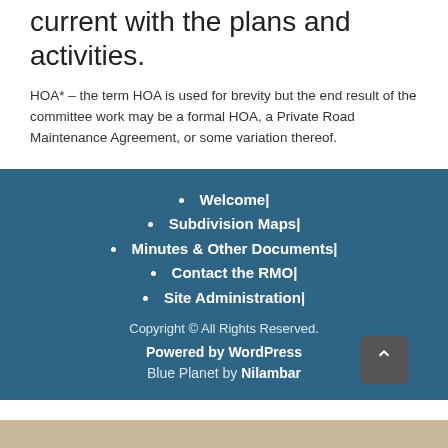current with the plans and activities.
HOA* – the term HOA is used for brevity but the end result of the committee work may be a formal HOA, a Private Road Maintenance Agreement, or some variation thereof.
Welcome|
Subdivision Maps|
Minutes & Other Documents|
Contact the RMO|
Site Administration|
Copyright © All Rights Reserved.
Powered by WordPress
Blue Planet by Nilambar